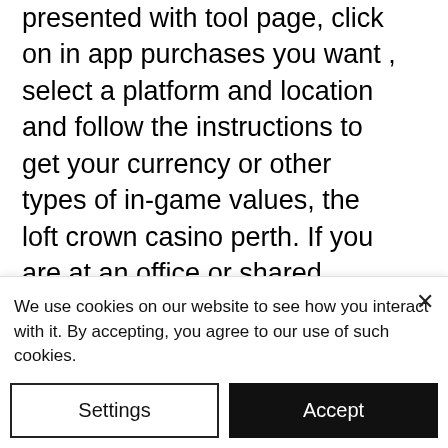HACK TOOL button, you will be presented with tool page, click on in app purchases you want , select a platform and location and follow the instructions to get your currency or other types of in-game values, the loft crown casino perth. If you are at an office or shared network, you can ask the network administrator to run a scan across the network looking for misconfigured or infected devices. Another way to prevent getting this page in the future is to use Privacy Pass. You may need to download version 2, free casino slots for ipad. Cloudflare Ray ID: 6a694fb4cbef1622 Your IP : 94. Crown metropol perth - located within 10
We use cookies on our website to see how you interact with it. By accepting, you agree to our use of such cookies.
Settings
Accept